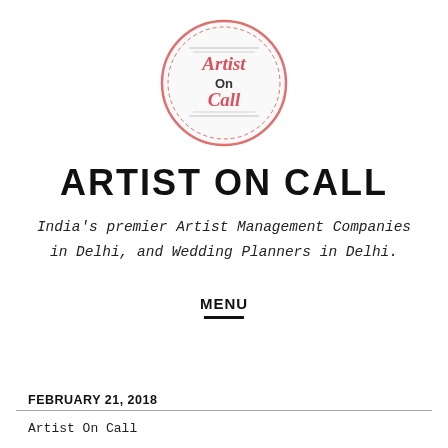[Figure (logo): Artist On Call circular logo with pink/red text and decorative border]
ARTIST ON CALL
India's premier Artist Management Companies in Delhi, and Wedding Planners in Delhi.
MENU
FEBRUARY 21, 2018
Artist On Call